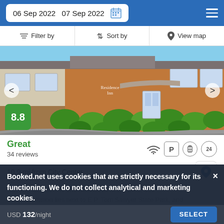06 Sep 2022  07 Sep 2022
Filter by  Sort by  View map
[Figure (photo): Exterior photo of a Residence Inn hotel — red brick building with green shrubs and a driveway.]
8.8
Great
34 reviews
10.9 mi from City Center
Offering lawn tennis and basketball in the area, this accommodation lies next to E.P. Tom Sawyer State Park, and
Booked.net uses cookies that are strictly necessary for its functioning. We do not collect analytical and marketing cookies.